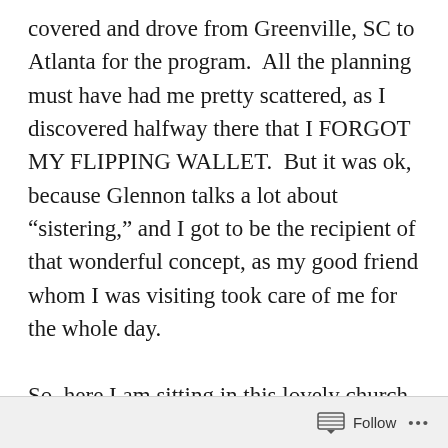covered and drove from Greenville, SC to Atlanta for the program.  All the planning must have had me pretty scattered, as I discovered halfway there that I FORGOT MY FLIPPING WALLET.  But it was ok, because Glennon talks a lot about “sistering,” and I got to be the recipient of that wonderful concept, as my good friend whom I was visiting took care of me for the whole day.

So, here I am sitting in this lovely church, buzzing with polite, well-heeled ladies, and my role model Glennon appears, with her kind and
Follow ...